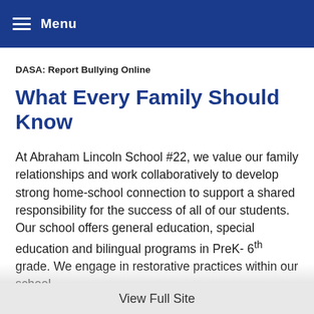Menu
DASA: Report Bullying Online
What Every Family Should Know
At Abraham Lincoln School #22, we value our family relationships and work collaboratively to develop strong home-school connection to support a shared responsibility for the success of all of our students. Our school offers general education, special education and bilingual programs in PreK- 6th grade. We engage in restorative practices within our school community...
View Full Site